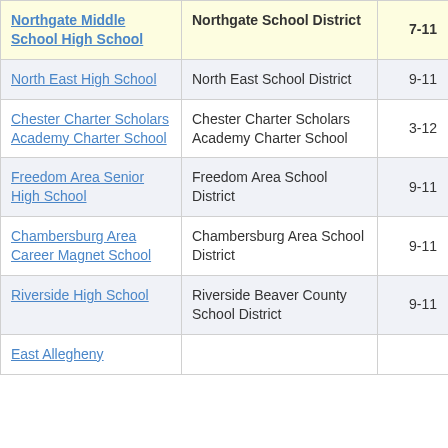| School Name | District | Grades | Score |  |
| --- | --- | --- | --- | --- |
| Northgate Middle School High School | Northgate School District | 7-11 | -2.6 | 3 |
| North East High School | North East School District | 9-11 | -5.1 |  |
| Chester Charter Scholars Academy Charter School | Chester Charter Scholars Academy Charter School | 3-12 | -6.2 |  |
| Freedom Area Senior High School | Freedom Area School District | 9-11 | -5.8 |  |
| Chambersburg Area Career Magnet School | Chambersburg Area School District | 9-11 | -3.9 |  |
| Riverside High School | Riverside Beaver County School District | 9-11 | -5.2 |  |
| East Allegheny |  |  |  |  |